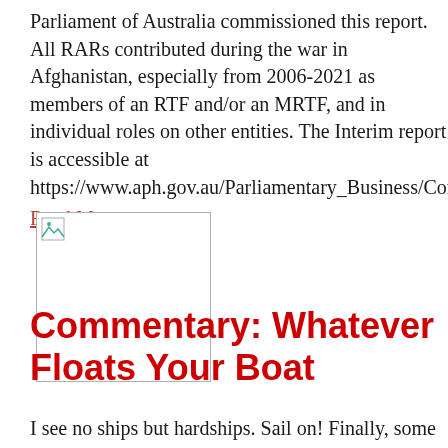Parliament of Australia commissioned this report. All RARs contributed during the war in Afghanistan, especially from 2006-2021 as members of an RTF and/or an MRTF, and in individual roles on other entities. The Interim report is accessible at https://www.aph.gov.au/Parliamentary_Business/Committees/Senat
Read More
[Figure (photo): Broken/missing image placeholder with border]
Commentary: Whatever Floats Your Boat
I see no ships but hardships. Sail on! Finally, some